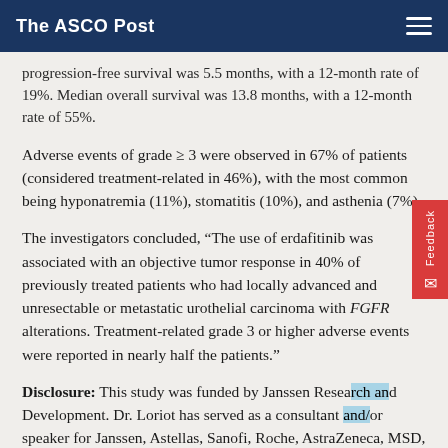The ASCO Post
progression-free survival was 5.5 months, with a 12-month rate of 19%. Median overall survival was 13.8 months, with a 12-month rate of 55%.
Adverse events of grade ≥ 3 were observed in 67% of patients (considered treatment-related in 46%), with the most common being hyponatremia (11%), stomatitis (10%), and asthenia (7%).
The investigators concluded, “The use of erdafitinib was associated with an objective tumor response in 40% of previously treated patients who had locally advanced and unresectable or metastatic urothelial carcinoma with FGFR alterations. Treatment-related grade 3 or higher adverse events were reported in nearly half the patients.”
Disclosure: This study was funded by Janssen Research and Development. Dr. Loriot has served as a consultant and/or speaker for Janssen, Astellas, Sanofi, Roche, AstraZeneca, MSD, Bristol Myers Squibb, Clovis, Seattle Genetics, Incyte